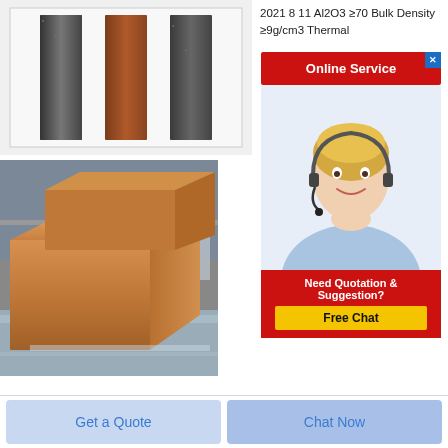[Figure (photo): Three vertical refractory material samples/bars — two dark grey and one reddish-brown — against a white background]
2021 8 11 Al2O3 ≥70 Bulk Density ≥9g/cm3 Thermal
[Figure (infographic): Online Service banner with red button labeled 'Online Service', a close X button, a photo of a smiling blonde woman with a headset, a red box saying 'Need Quotation & Suggestion?' and a yellow button labeled 'Free Chat']
[Figure (photo): Stacked brown refractory fire bricks in an industrial warehouse setting]
Get a Quote
Chat Now